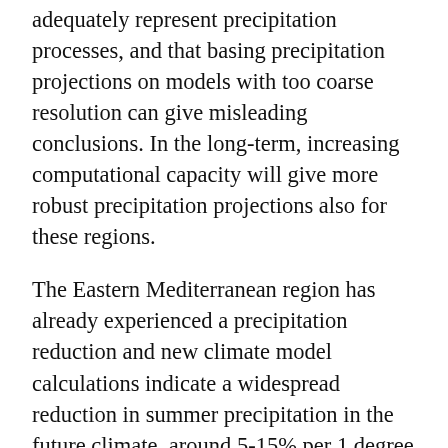adequately represent precipitation processes, and that basing precipitation projections on models with too coarse resolution can give misleading conclusions. In the long-term, increasing computational capacity will give more robust precipitation projections also for these regions.
The Eastern Mediterranean region has already experienced a precipitation reduction and new climate model calculations indicate a widespread reduction in summer precipitation in the future climate, around 5-15% per 1 degree Celsius of global warming. Short-duration extreme precipitation reduces less than this, and in other regions of Europe the intensity of extreme precipitation events increases, and it increases